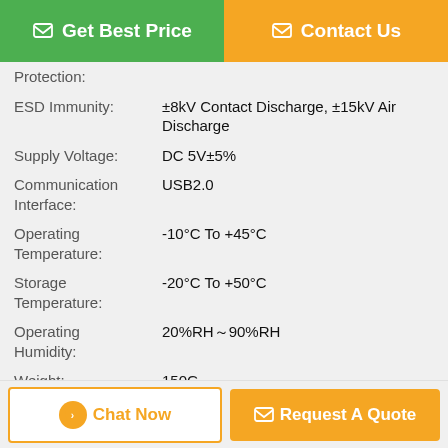[Figure (other): Get Best Price button (green) and Contact Us button (orange) at top of page]
| Parameter | Value |
| --- | --- |
| Protection: |  |
| ESD Immunity: | ±8kV Contact Discharge, ±15kV Air Discharge |
| Supply Voltage: | DC 5V±5% |
| Communication Interface: | USB2.0 |
| Operating Temperature: | -10°C To +45°C |
| Storage Temperature: | -20°C To +50°C |
| Operating Humidity: | 20%RH～90%RH |
| Weight: | 150G |
| Operating System Environment: | Windows,Android, Linux |
| Product Size: | 74.79* 18.55 * 19.2(mm)(L*W*H) |
[Figure (other): Chat Now button (white/orange border) and Request A Quote button (orange) at bottom of page]